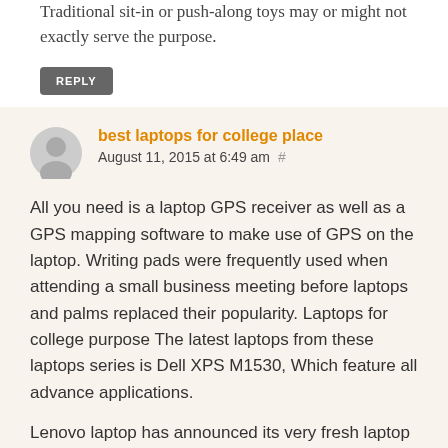Traditional sit-in or push-along toys may or might not exactly serve the purpose.
REPLY
best laptops for college place August 11, 2015 at 6:49 am #
All you need is a laptop GPS receiver as well as a GPS mapping software to make use of GPS on the laptop. Writing pads were frequently used when attending a small business meeting before laptops and palms replaced their popularity. Laptops for college purpose The latest laptops from these laptops series is Dell XPS M1530, Which feature all advance applications.
Lenovo laptop has announced its very fresh laptop with excellent configurations i.